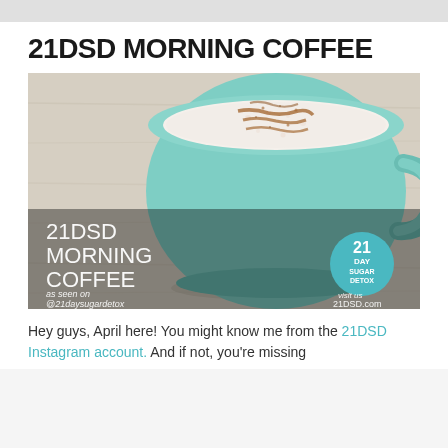21DSD MORNING COFFEE
[Figure (photo): Photo of a teal/mint colored coffee mug with frothy latte art and cinnamon sprinkled on top, sitting on a light wood surface. Overlaid text reads '21DSD MORNING COFFEE', 'as seen on @21daysugardetox Instagram', and a teal circle badge with '21 DAY SUGAR DETOX', 'visit us 21DSD.com']
Hey guys, April here! You might know me from the 21DSD Instagram account. And if not, you're missing